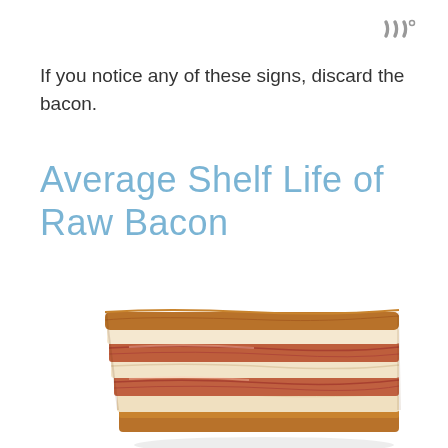[Figure (logo): Three vertical wavy lines logo mark in gray with a degree symbol, top right corner]
If you notice any of these signs, discard the bacon.
Average Shelf Life of Raw Bacon
[Figure (photo): A block/slab of raw bacon with visible layers of fat and meat, photographed on white background]